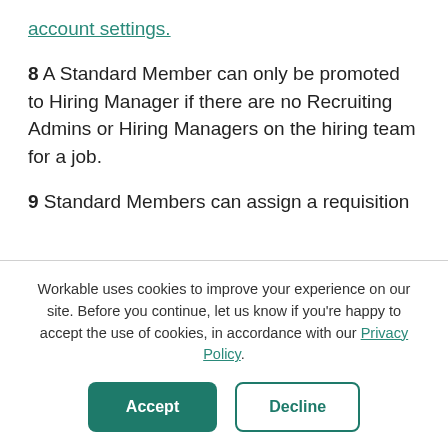account settings.
8 A Standard Member can only be promoted to Hiring Manager if there are no Recruiting Admins or Hiring Managers on the hiring team for a job.
9 Standard Members can assign a requisition
Workable uses cookies to improve your experience on our site. Before you continue, let us know if you're happy to accept the use of cookies, in accordance with our Privacy Policy.